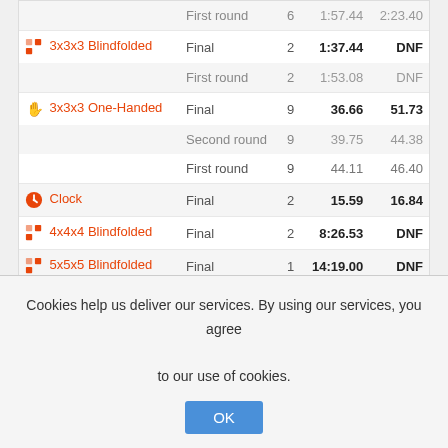| Event | Round | # | Best | Average |
| --- | --- | --- | --- | --- |
|  | First round | 6 | 1:57.44 | 2:23.40 |
| 3x3x3 Blindfolded | Final | 2 | 1:37.44 | DNF |
|  | First round | 2 | 1:53.08 | DNF |
| 3x3x3 One-Handed | Final | 9 | 36.66 | 51.73 |
|  | Second round | 9 | 39.75 | 44.38 |
|  | First round | 9 | 44.11 | 46.40 |
| Clock | Final | 2 | 15.59 | 16.84 |
| 4x4x4 Blindfolded | Final | 2 | 8:26.53 | DNF |
| 5x5x5 Blindfolded | Final | 1 | 14:19.00 | DNF |
Nakai Velasquez - United States WCA profile
| Event | Round | # | Best | Average |
| --- | --- | --- | --- | --- |
Cookies help us deliver our services. By using our services, you agree to our use of cookies.